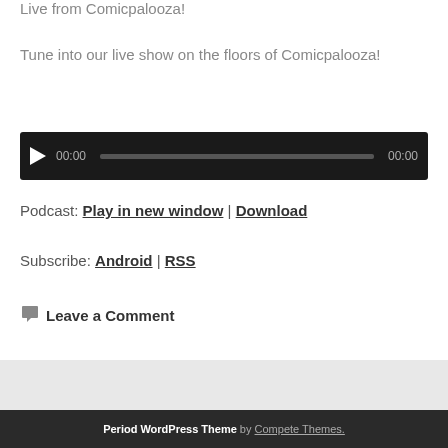Live from Comicpalooza!
Tune into our live show on the floors of Comicpalooza!
[Figure (other): Audio player with play button, time display 00:00, progress bar, and end time 00:00 on dark background]
Podcast: Play in new window | Download
Subscribe: Android | RSS
Leave a Comment
Period WordPress Theme by Compete Themes.